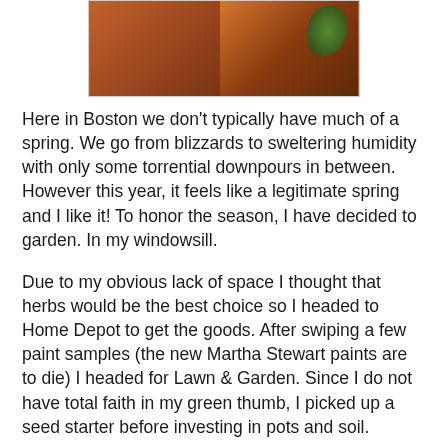[Figure (photo): Photo of seed packets and plant materials on a table, showing gardening supplies including what appears to be orange/brown seed packets and a small green plant]
Here in Boston we don't typically have much of a spring. We go from blizzards to sweltering humidity with only some torrential downpours in between. However this year, it feels like a legitimate spring and I like it! To honor the season, I have decided to garden. In my windowsill.
Due to my obvious lack of space I thought that herbs would be the best choice so I headed to Home Depot to get the goods. After swiping a few paint samples (the new Martha Stewart paints are to die) I headed for Lawn & Garden. Since I do not have total faith in my green thumb, I picked up a seed starter before investing in pots and soil.
The only bummer, I read that they had buy one get one organic seeds this weekend, but I saw no such thing. Even though my seeds aren't organic, I am growing them in my house so I know there will be no crazy toxic chemicals involved. I picked up basil, chives, cilantro, oregano, and rosemary seed packets. So this seed starter business, funny